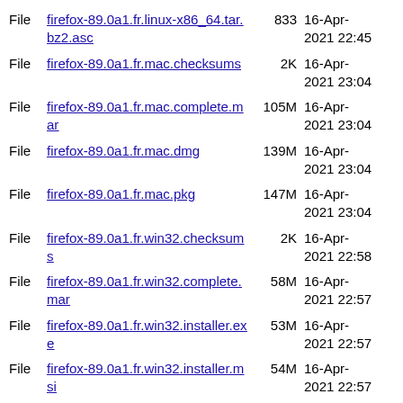File  firefox-89.0a1.fr.linux-x86_64.tar.bz2.asc  833  16-Apr-2021 22:45
File  firefox-89.0a1.fr.mac.checksums  2K  16-Apr-2021 23:04
File  firefox-89.0a1.fr.mac.complete.mar  105M  16-Apr-2021 23:04
File  firefox-89.0a1.fr.mac.dmg  139M  16-Apr-2021 23:04
File  firefox-89.0a1.fr.mac.pkg  147M  16-Apr-2021 23:04
File  firefox-89.0a1.fr.win32.checksums  2K  16-Apr-2021 22:58
File  firefox-89.0a1.fr.win32.complete.mar  58M  16-Apr-2021 22:57
File  firefox-89.0a1.fr.win32.installer.exe  53M  16-Apr-2021 22:57
File  firefox-89.0a1.fr.win32.installer.msi  54M  16-Apr-2021 22:57
File  firefox-89.0a1.fr.win32.zip  79M  16-Apr-2021 22:57
File  firefox-89.0a1.fr.win64-aarch64.checksums  2K  16-Apr-2021 22:45